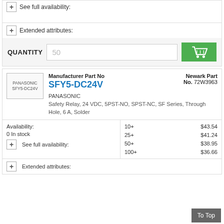+ See full availability:
+ Extended attributes:
QUANTITY  50  [cart button]
[Figure (other): PANASONIC SFY5-DC24V product image placeholder]
Manufacturer Part No
SFY5-DC24V
PANASONIC
Safety Relay, 24 VDC, 5PST-NO, SPST-NC, SF Series, Through Hole, 6 A, Solder
Newark Part No. 72W3963
| Availability: | 10+ | $43.54 |
| 0 In stock | 25+ | $41.24 |
| + See full availability: | 50+ | $38.95 |
|  | 100+ | $36.66 |
+ Extended attributes:
To Top